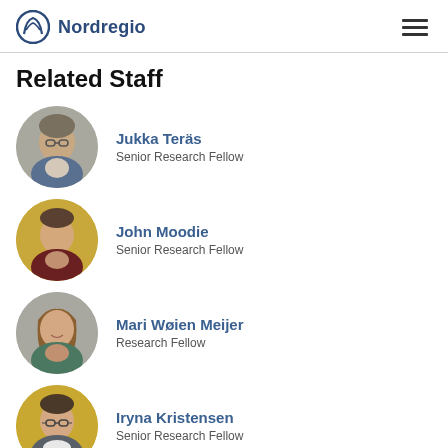Nordregio
Related Staff
[Figure (photo): Circular headshot of Jukka Teräs, a man with glasses and a grey/blue jacket, against a plain background]
Jukka Teräs
Senior Research Fellow
[Figure (photo): Circular headshot of John Moodie, a young man with a dark maroon sweater against a golden/ochre background]
John Moodie
Senior Research Fellow
[Figure (photo): Circular headshot of Mari Wøien Meijer, a woman with long wavy hair against a grey background]
Mari Wøien Meijer
Research Fellow
[Figure (photo): Circular headshot of Iryna Kristensen, a woman with glasses and a white collar against a golden background]
Iryna Kristensen
Senior Research Fellow